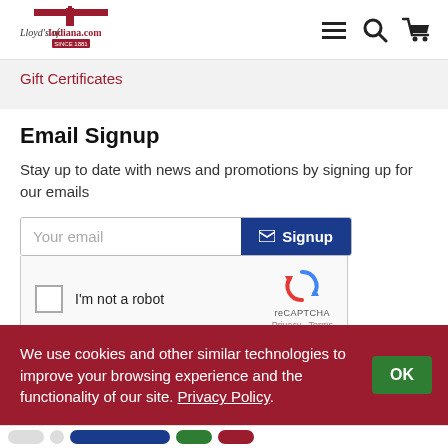[Figure (logo): Lloyd's of Indiana.com logo with lighthouse graphic and 'SINCE 1881' text]
[Figure (infographic): Navigation icons: hamburger menu, search magnifying glass, shopping cart]
Gift Certificates
Email Signup
Stay up to date with news and promotions by signing up for our emails
[Figure (screenshot): Email input field with placeholder 'Your email' and dark blue Signup button with envelope icon]
[Figure (screenshot): reCAPTCHA widget with checkbox labeled 'I'm not a robot' and reCAPTCHA logo with Privacy and Terms links]
We use cookies and other similar technologies to improve your browsing experience and the functionality of our site. Privacy Policy.